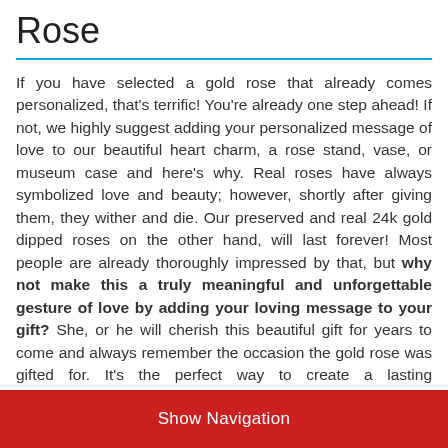Rose
If you have selected a gold rose that already comes personalized, that's terrific! You're already one step ahead! If not, we highly suggest adding your personalized message of love to our beautiful heart charm, a rose stand, vase, or museum case and here's why. Real roses have always symbolized love and beauty; however, shortly after giving them, they wither and die. Our preserved and real 24k gold dipped roses on the other hand, will last forever! Most people are already thoroughly impressed by that, but why not make this a truly meaningful and unforgettable gesture of love by adding your loving message to your gift? She, or he will cherish this beautiful gift for years to come and always remember the occasion the gold rose was gifted for. It's the perfect way to create a lasting remembrance for an anniversary, birthday, Christmas, Mother's Day, Valentine's Day, or even just to remind that special person just how much you truly love them!
Show Navigation